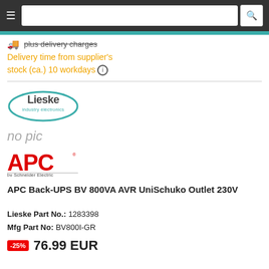Navigation bar with hamburger menu and search box
plus delivery charges
Delivery time from supplier's stock (ca.) 10 workdays
[Figure (logo): Lieske Industry Electronics oval logo]
no pic
[Figure (logo): APC by Schneider Electric logo in red]
APC Back-UPS BV 800VA AVR UniSchuko Outlet 230V
Lieske Part No.: 1283398
Mfg Part No: BV800I-GR
-25%  76.99 EUR